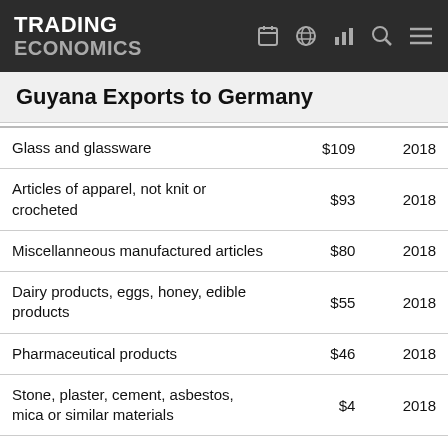TRADING ECONOMICS
Guyana Exports to Germany
|  |  |  |
| --- | --- | --- |
| Glass and glassware | $109 | 2018 |
| Articles of apparel, not knit or crocheted | $93 | 2018 |
| Miscellanneous manufactured articles | $80 | 2018 |
| Dairy products, eggs, honey, edible products | $55 | 2018 |
| Pharmaceutical products | $46 | 2018 |
| Stone, plaster, cement, asbestos, mica or similar materials | $4 | 2018 |
| Iron and steel | $5K | 2017 |
| Furniture, lighting signs, prefabricated buildings | $860 | 2016 |